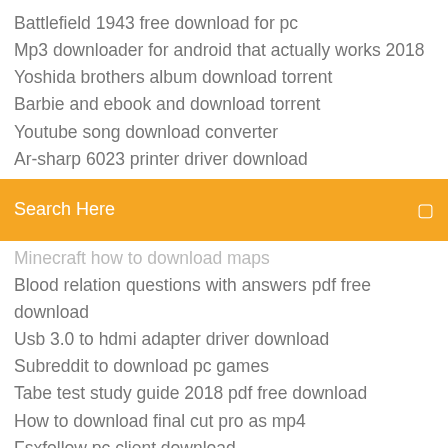Battlefield 1943 free download for pc
Mp3 downloader for android that actually works 2018
Yoshida brothers album download torrent
Barbie and ebook and download torrent
Youtube song download converter
Ar-sharp 6023 printer driver download
[Figure (screenshot): Orange search bar with text 'Search Here' and a search icon on the right]
Minecraft how to download maps
Blood relation questions with answers pdf free download
Usb 3.0 to hdmi adapter driver download
Subreddit to download pc games
Tabe test study guide 2018 pdf free download
How to download final cut pro as mp4
Fsxfollow pc client download
Make my pc run faster free download
Videopad editor download free full version old version
Super x video converter free download full version
Download madden 19 roster to madden 18 ps4